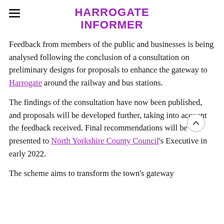HARROGATE INFORMER
Feedback from members of the public and businesses is being analysed following the conclusion of a consultation on preliminary designs for proposals to enhance the gateway to Harrogate around the railway and bus stations.
The findings of the consultation have now been published, and proposals will be developed further, taking into account the feedback received. Final recommendations will be presented to North Yorkshire County Council's Executive in early 2022.
The scheme aims to transform the town's gateway